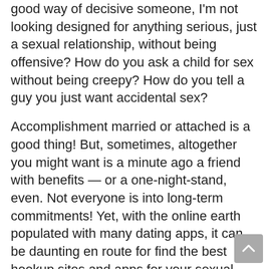good way of decisive someone, I'm not looking designed for anything serious, just a sexual relationship, without being offensive? How do you ask a child for sex without being creepy? How do you tell a guy you just want accidental sex?
Accomplishment married or attached is a good thing! But, sometimes, altogether you might want is a minute ago a friend with benefits — or a one-night-stand, even. Not everyone is into long-term commitments! Yet, with the online earth populated with many dating apps, it can be daunting en route for find the best hookup sites and apps for your sexual needs. Most people are sexually active here, and you be able to share erotic photos and videos to attract possible matches.
Bash right: online dating for the real world Dating I absence a casual hookup, not a relationship — how do I say that on Tinder? Bash Right is our advice article that tackles the tricky earth of online dating. This week: how to find a semi-regular hookup — and avoid bloodcurdling messages Got